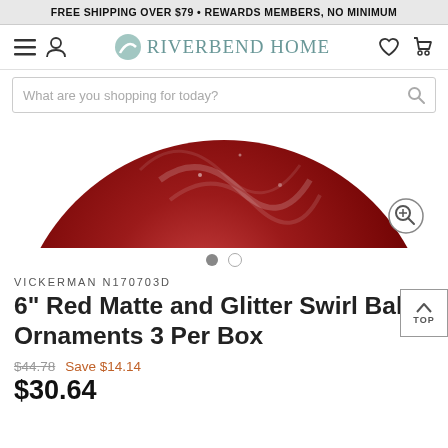FREE SHIPPING OVER $79 • REWARDS MEMBERS, NO MINIMUM
[Figure (logo): Riverbend Home logo with navigation icons (hamburger menu, user icon, heart, cart)]
[Figure (screenshot): Search bar with placeholder text 'What are you shopping for today?']
[Figure (photo): Partial view of a red matte and glitter swirl ball ornament with zoom icon]
VICKERMAN N170703D
6" Red Matte and Glitter Swirl Ball Ornaments 3 Per Box
$44.78  Save $14.14  $30.64